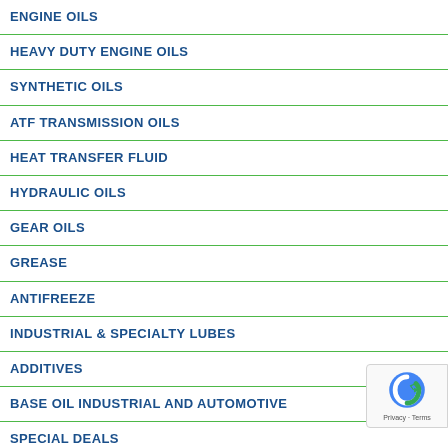ENGINE OILS
HEAVY DUTY ENGINE OILS
SYNTHETIC OILS
ATF TRANSMISSION OILS
HEAT TRANSFER FLUID
HYDRAULIC OILS
GEAR OILS
GREASE
ANTIFREEZE
INDUSTRIAL & SPECIALTY LUBES
ADDITIVES
BASE OIL INDUSTRIAL AND AUTOMOTIVE
SPECIAL DEALS
OTHER PRODUCTS